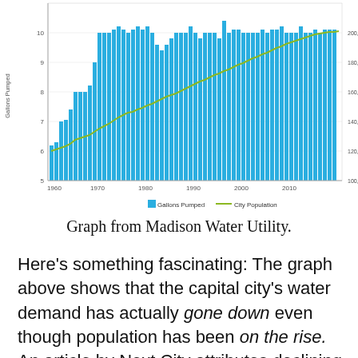[Figure (bar-chart): Gallons Pumped and City Population 1960-2015]
Graph from Madison Water Utility.
Here's something fascinating: The graph above shows that the capital city's water demand has actually gone down even though population has been on the rise. An article by Next City attributes declining